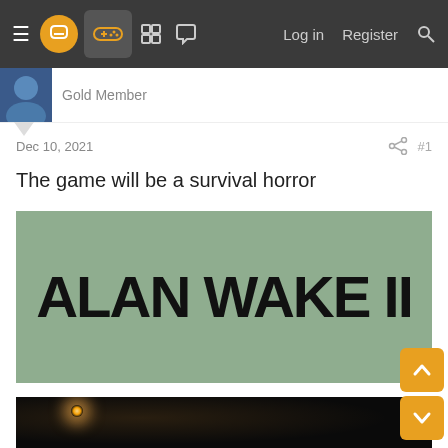Navigation bar with menu, logo, controller icon, grid icon, chat icon, Log in, Register, Search
Gold Member
Dec 10, 2021
#1
The game will be a survival horror
[Figure (illustration): Alan Wake II logo on a sage green background with bold black uppercase text reading ALAN WAKE II]
[Figure (photo): Dark cinematic scene showing a character with hair falling over face, holding something, with warm light sources in background on dark/black background]